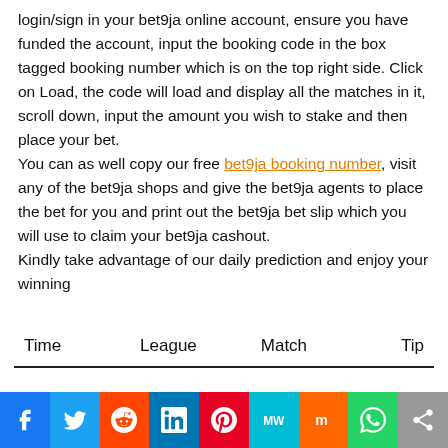login/sign in your bet9ja online account, ensure you have funded the account, input the booking code in the box tagged booking number which is on the top right side. Click on Load, the code will load and display all the matches in it, scroll down, input the amount you wish to stake and then place your bet. You can as well copy our free bet9ja booking number, visit any of the bet9ja shops and give the bet9ja agents to place the bet for you and print out the bet9ja bet slip which you will use to claim your bet9ja cashout. Kindly take advantage of our daily prediction and enjoy your winning
| Time | League | Match | Tip |
| --- | --- | --- | --- |
[Figure (other): Social sharing bar with icons for Facebook, Twitter, Reddit, LinkedIn, Pinterest, MeWe, Mix, WhatsApp, and a share button]